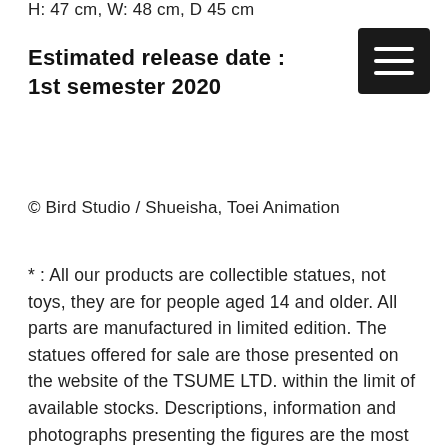H: 47 cm, W: 48 cm, D 45 cm
Estimated release date :  1st semester 2020
© Bird Studio / Shueisha, Toei Animation
* : All our products are collectible statues, not toys, they are for people aged 14 and older. All parts are manufactured in limited edition. The statues offered for sale are those presented on the website of the TSUME LTD. within the limit of available stocks. Descriptions, information and photographs presenting the figures are the most accurate reproduction possible, but are for illustrative purposes and have no contractual value. In an effort to constantly improve the